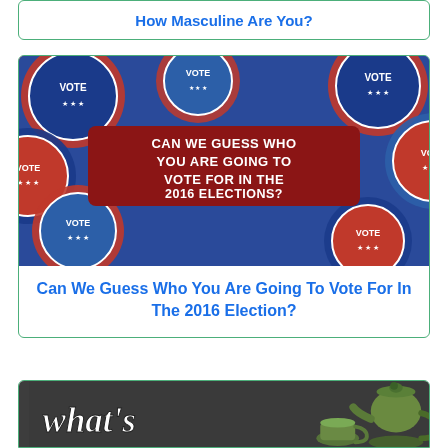How Masculine Are You?
[Figure (photo): Collage of red, white, and blue 'VOTE' election buttons/badges with a centered red banner reading 'CAN WE GUESS WHO YOU ARE GOING TO VOTE FOR IN THE 2016 ELECTIONS?']
Can We Guess Who You Are Going To Vote For In The 2016 Election?
[Figure (photo): Dark grey background with large white italic text 'what's' on the left and green ceramic teapots on the right]